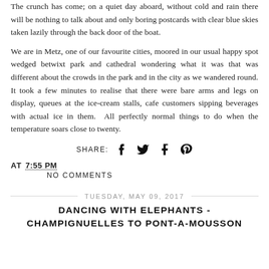The crunch has come; on a quiet day aboard, without cold and rain there will be nothing to talk about and only boring postcards with clear blue skies taken lazily through the back door of the boat.
We are in Metz, one of our favourite cities, moored in our usual happy spot wedged betwixt park and cathedral wondering what it was that was different about the crowds in the park and in the city as we wandered round. It took a few minutes to realise that there were bare arms and legs on display, queues at the ice-cream stalls, cafe customers sipping beverages with actual ice in them.  All perfectly normal things to do when the temperature soars close to twenty.
SHARE: [social icons: Facebook, Twitter, Tumblr, Pinterest]
AT 7:55 PM
NO COMMENTS
TUESDAY, MAY 09, 2017
DANCING WITH ELEPHANTS -
CHAMPIGNUELLES TO PONT-A-MOUSSON